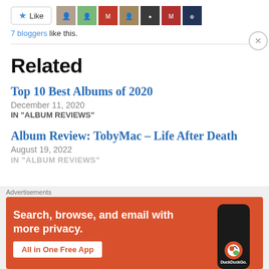[Figure (other): Like button with star icon and 7 blogger avatar thumbnails]
7 bloggers like this.
Related
Top 10 Best Albums of 2020
December 11, 2020
IN "ALBUM REVIEWS"
Album Review: TobyMac – Life After Death
August 19, 2022
[Figure (screenshot): DuckDuckGo advertisement banner with text: Search, browse, and email with more privacy. All in One Free App. DuckDuckGo.]